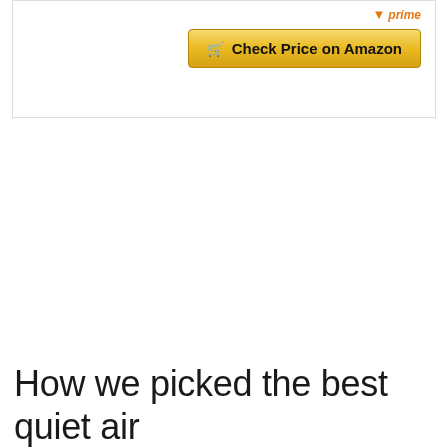[Figure (screenshot): Amazon product card partial view showing a Prime badge and a golden 'Check Price on Amazon' button with a shopping cart icon]
How we picked the best quiet air